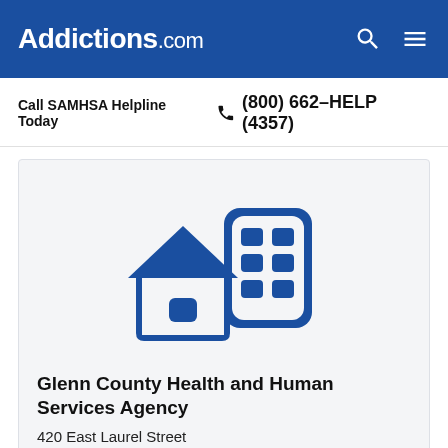Addictions.com
Call SAMHSA Helpline Today  (800) 662-HELP (4357)
[Figure (illustration): Icon of a house and office building in dark blue on light gray background, representing a health/services facility]
Glenn County Health and Human Services Agency
420 East Laurel Street
Willows, CA 95988